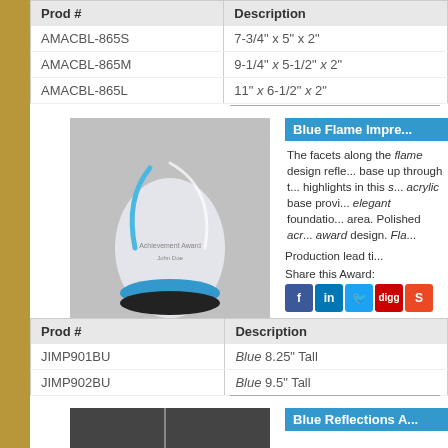| Prod # | Description |
| --- | --- |
| AMACBL-865S | 7-3/4" x 5" x 2" |
| AMACBL-865M | 9-1/4" x 5-1/2" x 2" |
| AMACBL-865L | 11" x 6-1/2" x 2" |
[Figure (photo): Blue Flame acrylic award with blue base]
Blue Flame Impre...
The facets along the flame design reflect base up through the highlights in this acrylic base providing elegant foundation area. Polished acrylic award design. Fla...
Production lead ti...
Share this Award:
| Prod # | Description |
| --- | --- |
| JIMP901BU | Blue 8.25" Tall |
| JIMP902BU | Blue 9.5" Tall |
[Figure (photo): Blue Reflections award product image]
Blue Reflections A...